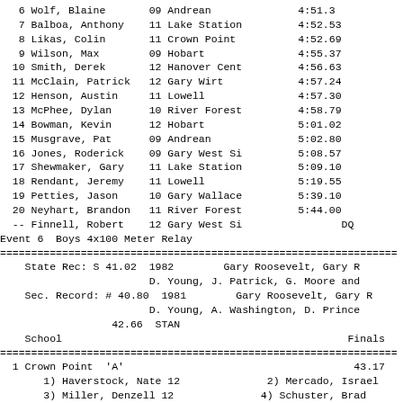| Place | Name | Yr | School | Finals |
| --- | --- | --- | --- | --- |
| 6 | Wolf, Blaine | 09 | Andrean | 4:51.3 |
| 7 | Balboa, Anthony | 11 | Lake Station | 4:52.53 |
| 8 | Likas, Colin | 11 | Crown Point | 4:52.69 |
| 9 | Wilson, Max | 09 | Hobart | 4:55.37 |
| 10 | Smith, Derek | 12 | Hanover Cent | 4:56.63 |
| 11 | McClain, Patrick | 12 | Gary Wirt | 4:57.24 |
| 12 | Henson, Austin | 11 | Lowell | 4:57.30 |
| 13 | McPhee, Dylan | 10 | River Forest | 4:58.79 |
| 14 | Bowman, Kevin | 12 | Hobart | 5:01.02 |
| 15 | Musgrave, Pat | 09 | Andrean | 5:02.80 |
| 16 | Jones, Roderick | 09 | Gary West Si | 5:08.57 |
| 17 | Shewmaker, Gary | 11 | Lake Station | 5:09.10 |
| 18 | Rendant, Jeremy | 11 | Lowell | 5:19.55 |
| 19 | Petties, Jason | 10 | Gary Wallace | 5:39.10 |
| 20 | Neyhart, Brandon | 11 | River Forest | 5:44.00 |
| -- | Finnell, Robert | 12 | Gary West Si | DQ |
Event 6  Boys 4x100 Meter Relay
State Rec: S 41.02  1982        Gary Roosevelt, Gary R
                    D. Young, J. Patrick, G. Moore and
Sec. Record: # 40.80  1981        Gary Roosevelt, Gary R
                    D. Young, A. Washington, D. Prince
              42.66  STAN
| School | Finals |
| --- | --- |
| Crown Point  'A' | 43.17 |
| 1) Haverstock, Nate 12 | 2) Mercado, Israel |
| 3) Miller, Denzell 12 | 4) Schuster, Brad |
| 5) Kabella, Nick 12 | 6) Klein, Chris 1 |